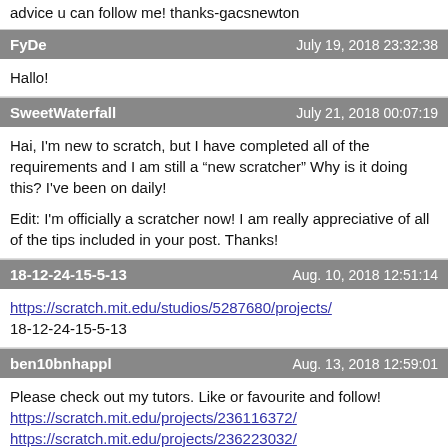advice u can follow me! thanks-gacsnewton
FyDe	July 19, 2018 23:32:38
Hallo!
SweetWaterfall	July 21, 2018 00:07:19
Hai, I'm new to scratch, but I have completed all of the requirements and I am still a “new scratcher” Why is it doing this? I’ve been on daily!

Edit: I’m officially a scratcher now! I am really appreciative of all of the tips included in your post. Thanks!
18-12-24-15-5-13	Aug. 10, 2018 12:51:14
https://scratch.mit.edu/studios/5287680/projects/
18-12-24-15-5-13
ben10bnhappl	Aug. 13, 2018 12:59:01
Please check out my tutors. Like or favourite and follow!
https://scratch.mit.edu/projects/236116372/
https://scratch.mit.edu/projects/236223032/